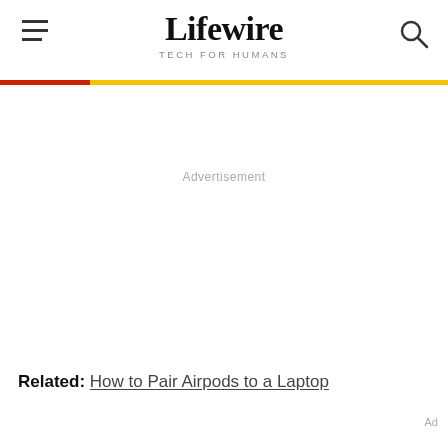Lifewire TECH FOR HUMANS
Advertisement
Related: How to Pair Airpods to a Laptop